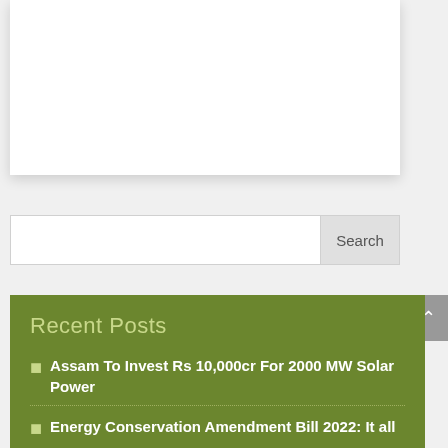[Figure (other): White card/panel area at top of page]
Search
Recent Posts
Assam To Invest Rs 10,000cr For 2000 MW Solar Power
Energy Conservation Amendment Bill 2022: It all